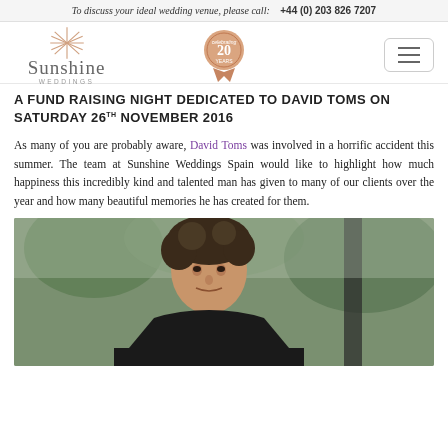To discuss your ideal wedding venue, please call:  +44 (0) 203 826 7207
[Figure (logo): Sunshine Weddings logo with star and 20 years badge, plus hamburger menu icon]
A FUND RAISING NIGHT DEDICATED TO DAVID TOMS ON SATURDAY 26TH NOVEMBER 2016
As many of you are probably aware, David Toms was involved in a horrific accident this summer. The team at Sunshine Weddings Spain would like to highlight how much happiness this incredibly kind and talented man has given to many of our clients over the year and how many beautiful memories he has created for them.
[Figure (photo): Portrait photograph of David Toms, a middle-aged man with curly dark hair wearing a black shirt, photographed outdoors with green foliage in the background]